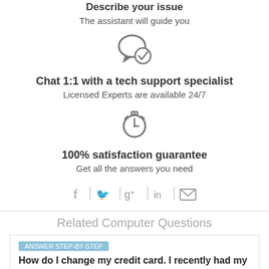Describe your issue
The assistant will guide you
[Figure (illustration): Chat bubble with a checkmark icon]
Chat 1:1 with a tech support specialist
Licensed Experts are available 24/7
[Figure (illustration): Stopwatch/timer icon]
100% satisfaction guarantee
Get all the answers you need
[Figure (infographic): Social sharing bar with Facebook, Twitter, Google+, LinkedIn, and Email icons]
Related Computer Questions
How do I change my credit card. I recently had my wallet...